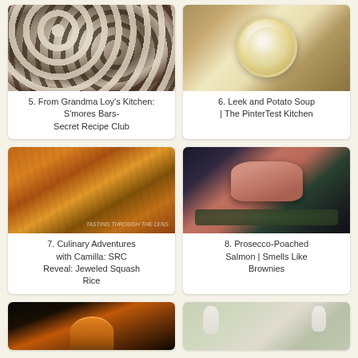[Figure (photo): S'mores bars with marshmallows and chocolate chips on a plate]
5. From Grandma Loy's Kitchen: S'mores Bars- Secret Recipe Club
[Figure (photo): Leek and potato soup in a white bowl with cream and toppings]
6. Leek and Potato Soup | The PinterTest Kitchen
[Figure (photo): Jeweled squash rice with colorful vegetables and grains]
7. Culinary Adventures with Camilla: SRC Reveal: Jeweled Squash Rice
[Figure (photo): Prosecco-poached salmon on a plate with greens]
8. Prosecco-Poached Salmon | Smells Like Brownies
[Figure (photo): Partial view of a dark bowl with orange soup]
[Figure (photo): Partial view of white ghost-shaped decorations outdoors]